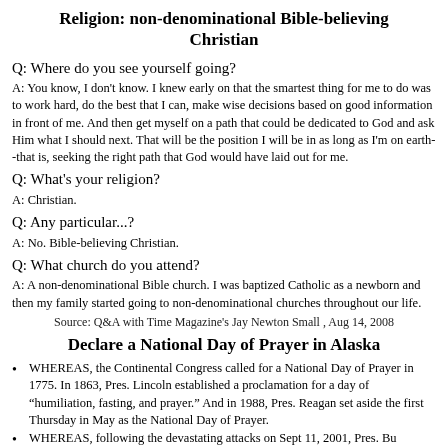Religion: non-denominational Bible-believing Christian
Q: Where do you see yourself going?
A: You know, I don't know. I knew early on that the smartest thing for me to do was to work hard, do the best that I can, make wise decisions based on good information in front of me. And then get myself on a path that could be dedicated to God and ask Him what I should next. That will be the position I will be in as long as I'm on earth--that is, seeking the right path that God would have laid out for me.
Q: What's your religion?
A: Christian.
Q: Any particular...?
A: No. Bible-believing Christian.
Q: What church do you attend?
A: A non-denominational Bible church. I was baptized Catholic as a newborn and then my family started going to non-denominational churches throughout our life.
Source: Q&A with Time Magazine's Jay Newton Small , Aug 14, 2008
Declare a National Day of Prayer in Alaska
WHEREAS, the Continental Congress called for a National Day of Prayer in 1775. In 1863, Pres. Lincoln established a proclamation for a day of "humiliation, fasting, and prayer." And in 1988, Pres. Reagan set aside the first Thursday in May as the National Day of Prayer.
WHEREAS, following the devastating attacks on Sept 11, 2001, Pres. Bush...